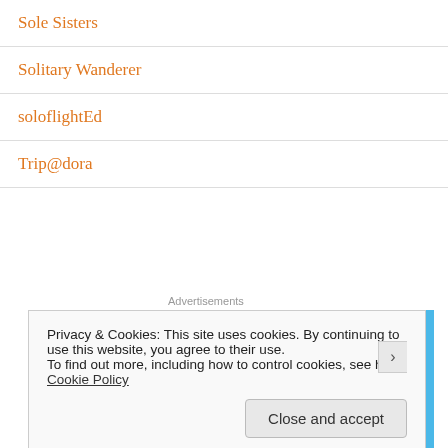Sole Sisters
Solitary Wanderer
soloflightEd
Trip@dora
[Figure (illustration): Advertisement banner with blue background showing three circular icons with server/computer graphics and a character in the middle]
Privacy & Cookies: This site uses cookies. By continuing to use this website, you agree to their use.
To find out more, including how to control cookies, see here: Cookie Policy
Close and accept